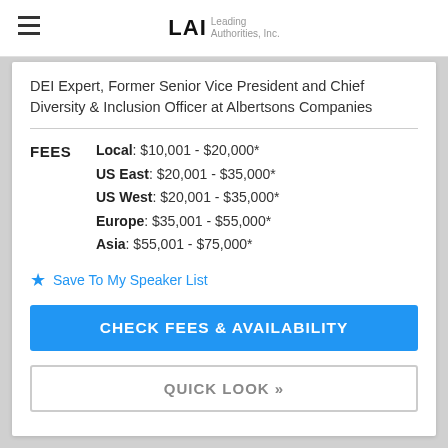LAI Leading Authorities, Inc.
DEI Expert, Former Senior Vice President and Chief Diversity & Inclusion Officer at Albertsons Companies
| Fee Type | Range |
| --- | --- |
| Local | $10,001 - $20,000* |
| US East | $20,001 - $35,000* |
| US West | $20,001 - $35,000* |
| Europe | $35,001 - $55,000* |
| Asia | $55,001 - $75,000* |
Save To My Speaker List
CHECK FEES & AVAILABILITY
QUICK LOOK »